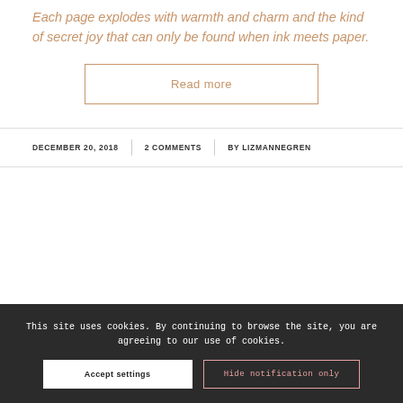Each page explodes with warmth and charm and the kind of secret joy that can only be found when ink meets paper.
Read more
DECEMBER 20, 2018 | 2 COMMENTS | BY LIZMANNEGREN
This site uses cookies. By continuing to browse the site, you are agreeing to our use of cookies.
Accept settings
Hide notification only